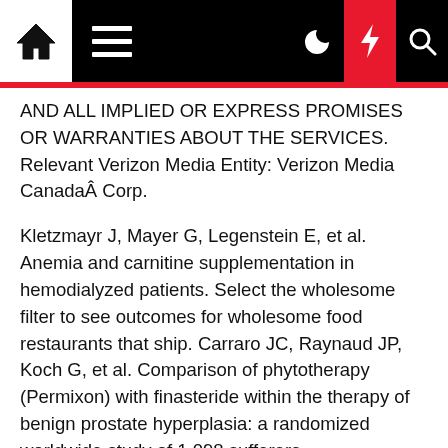Navigation bar with home, menu, dark mode, bolt, and search icons
AND ALL IMPLIED OR EXPRESS PROMISES OR WARRANTIES ABOUT THE SERVICES. Relevant Verizon Media Entity: Verizon Media CanadaÂ Corp.
Kletzmayr J, Mayer G, Legenstein E, et al. Anemia and carnitine supplementation in hemodialyzed patients. Select the wholesome filter to see outcomes for wholesome food restaurants that ship. Carraro JC, Raynaud JP, Koch G, et al. Comparison of phytotherapy (Permixon) with finasteride within the therapy of benign prostate hyperplasia: a randomized worldwide study of 1,098 sufferers.
Besides as otherwise provided within the specificÂ product terms or guidelines forÂ certainly one of our Providers, while you add, share with or submit content material to the Providers you keep